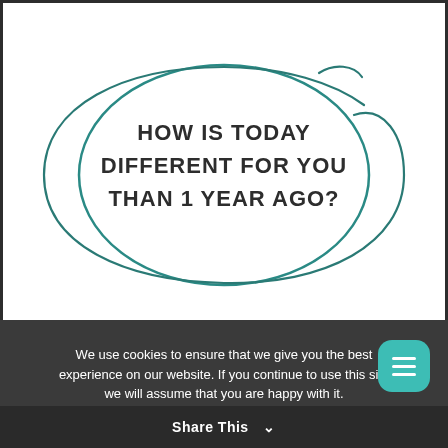[Figure (illustration): White background image with a hand-drawn teal/dark-teal oval/ellipse encircling bold uppercase text reading: HOW IS TODAY DIFFERENT FOR YOU THAN 1 YEAR AGO?]
We use cookies to ensure that we give you the best experience on our website. If you continue to use this site we will assume that you are happy with it.
Ok   Privacy policy
Share This